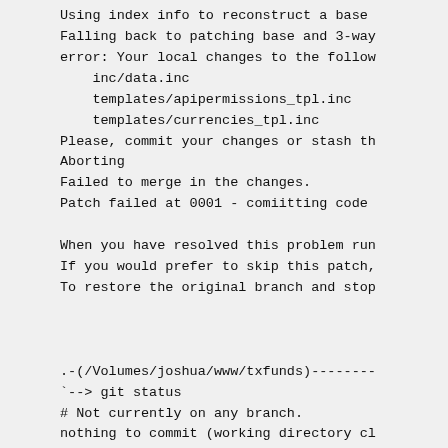Using index info to reconstruct a base
Falling back to patching base and 3-way
error: Your local changes to the follow
    inc/data.inc
    templates/apipermissions_tpl.inc
    templates/currencies_tpl.inc
Please, commit your changes or stash th
Aborting
Failed to merge in the changes.
Patch failed at 0001 - comiitting code

When you have resolved this problem run
If you would prefer to skip this patch,
To restore the original branch and stop



.-(/Volumes/joshua/www/txfunds)--------
`--> git status
# Not currently on any branch.
nothing to commit (working directory cl